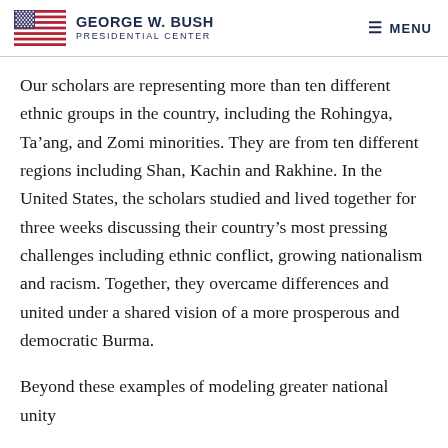George W. Bush Presidential Center — MENU
Our scholars are representing more than ten different ethnic groups in the country, including the Rohingya, Ta'ang, and Zomi minorities. They are from ten different regions including Shan, Kachin and Rakhine. In the United States, the scholars studied and lived together for three weeks discussing their country's most pressing challenges including ethnic conflict, growing nationalism and racism. Together, they overcame differences and united under a shared vision of a more prosperous and democratic Burma.
Beyond these examples of modeling greater national unity